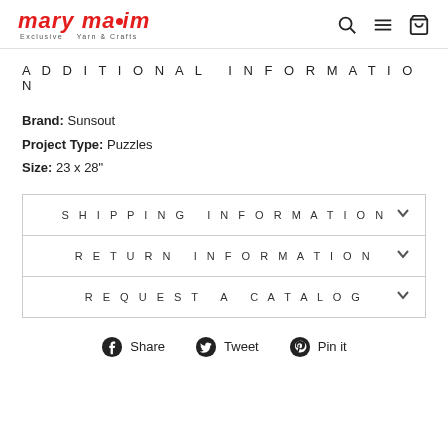mary maxim — Exclusive Yarn & Crafts
ADDITIONAL INFORMATION
Brand: Sunsout
Project Type: Puzzles
Size: 23 x 28"
SHIPPING INFORMATION
RETURN INFORMATION
REQUEST A CATALOG
Share   Tweet   Pin it